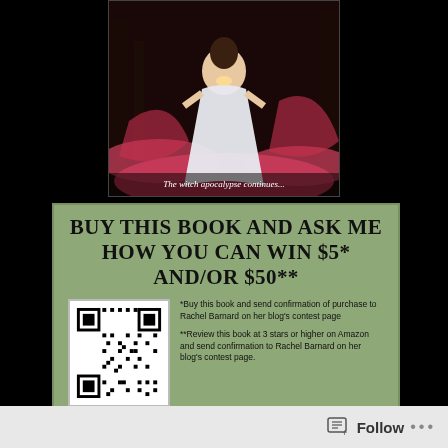[Figure (illustration): Book cover showing a woman in a white dress in a dark forest with pink/red magical smoke, text at bottom reads 'The witch apocalypse continues...']
BUY THIS BOOK AND ASK ME HOW YOU CAN WIN $5* AND/OR $50**
[Figure (other): QR code for contest page]
*Buy this book and send confirmation of purchase to Rachel Barnard on her blog's contest page

**Review this book at 3 stars or higher on Amazon and send confirmation to Rachel Barnard on her blog's contest page.
www.Rachelauthorbarnard.com/contest
Follow ...